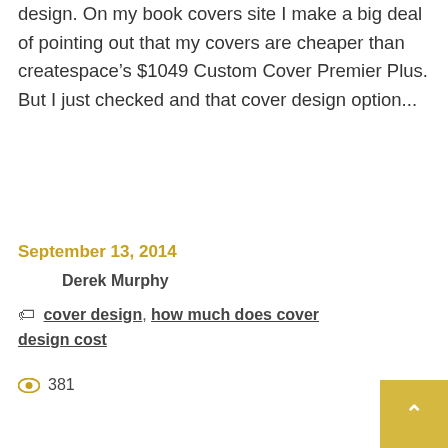design. On my book covers site I make a big deal of pointing out that my covers are cheaper than createspace's $1049 Custom Cover Premier Plus. But I just checked and that cover design option...
September 13, 2014
Derek Murphy
cover design, how much does cover design cost
381